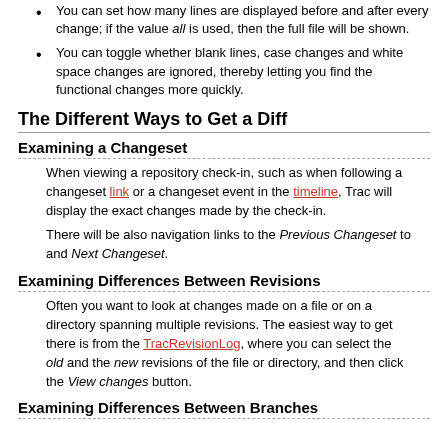You can set how many lines are displayed before and after every change; if the value all is used, then the full file will be shown.
You can toggle whether blank lines, case changes and white space changes are ignored, thereby letting you find the functional changes more quickly.
The Different Ways to Get a Diff
Examining a Changeset
When viewing a repository check-in, such as when following a changeset link or a changeset event in the timeline, Trac will display the exact changes made by the check-in.
There will be also navigation links to the Previous Changeset to and Next Changeset.
Examining Differences Between Revisions
Often you want to look at changes made on a file or on a directory spanning multiple revisions. The easiest way to get there is from the TracRevisionLog, where you can select the old and the new revisions of the file or directory, and then click the View changes button.
Examining Differences Between Branches